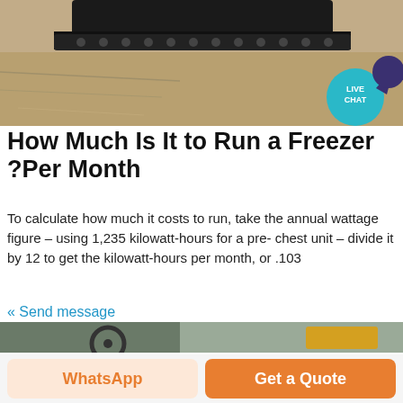[Figure (photo): Top portion of a tracked vehicle or machinery against sandy/dirt ground background, with a live chat bubble overlay in the top right corner.]
How Much Is It to Run a Freezer ?Per Month
To calculate how much it costs to run, take the annual wattage figure – using 1,235 kilowatt-hours for a pre- chest unit – divide it by 12 to get the kilowatt-hours per month, or .103
« Send message
[Figure (photo): Interior of a forklift cab showing steering wheel and controls, with another forklift visible in the outdoor background.]
WhatsApp
Get a Quote